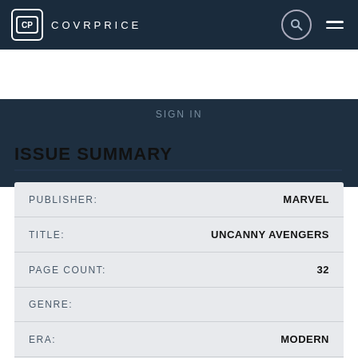COVRPRICE
SIGN IN
ISSUE SUMMARY
| Field | Value |
| --- | --- |
| PUBLISHER: | MARVEL |
| TITLE: | UNCANNY AVENGERS |
| PAGE COUNT: | 32 |
| GENRE: |  |
| ERA: | MODERN |
| COVER PRICE: | 3.99 USD |